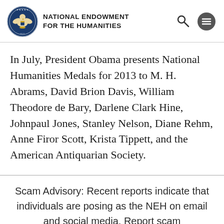NATIONAL ENDOWMENT FOR THE HUMANITIES
In July, President Obama presents National Humanities Medals for 2013 to M. H. Abrams, David Brion Davis, William Theodore de Bary, Darlene Clark Hine, Johnpaul Jones, Stanley Nelson, Diane Rehm, Anne Firor Scott, Krista Tippett, and the American Antiquarian Society.
Scam Advisory: Recent reports indicate that individuals are posing as the NEH on email and social media. Report scam